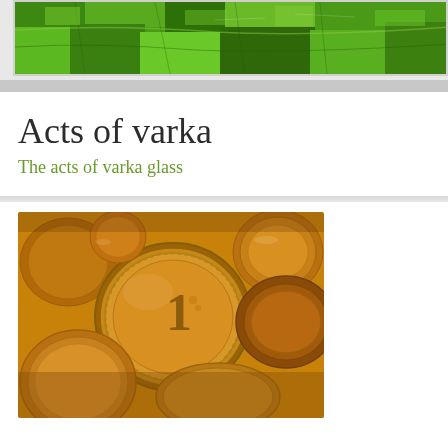[Figure (photo): Aerial view of green terraced fields or farmland, used as a header banner image]
Acts of varka
The acts of varka glass
[Figure (photo): Close-up photograph of gold and copper euro coins piled together, with a large 1 euro coin prominently in the center]